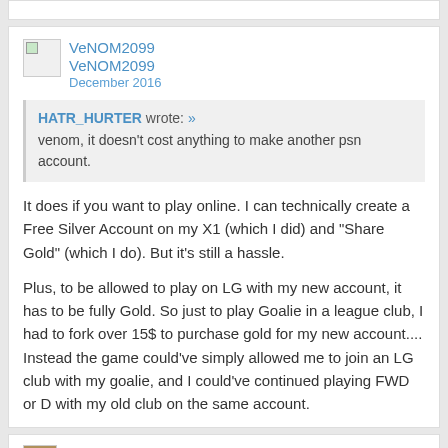VeNOM2099
VeNOM2099
December 2016
HATR_HURTER wrote: »
venom, it doesn't cost anything to make another psn account.
It does if you want to play online. I can technically create a Free Silver Account on my X1 (which I did) and "Share Gold" (which I do). But it's still a hassle.

Plus, to be allowed to play on LG with my new account, it has to be fully Gold. So just to play Goalie in a league club, I had to fork over 15$ to purchase gold for my new account.... Instead the game could've simply allowed me to join an LG club with my goalie, and I could've continued playing FWD or D with my old club on the same account.
HATR_HURTER